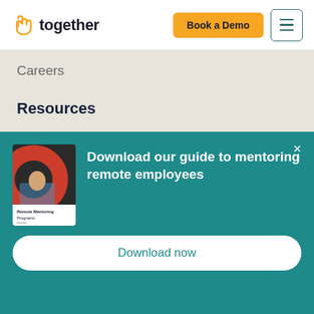together | Book a Demo
Careers
Resources
Blog
Sign In
[Figure (screenshot): Teal popup banner with book cover image for Remote Mentoring Programs guide]
Download our guide to mentoring remote employees
Download now